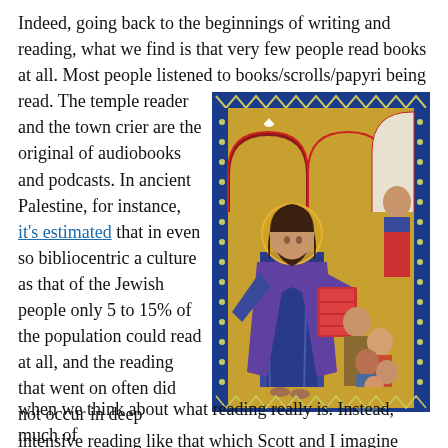Indeed, going back to the beginnings of writing and reading, what we find is that very few people read books at all. Most people listened to books/scrolls/papyri being read. The temple reader and the town crier are the original of audiobooks and podcasts. In ancient Palestine, for instance, it's estimated that in even so bibliocentric a culture as that of the Jewish people only 5 to 15% of the population could read at all, and the reading that went on often did not occur in deep intensive reading like that which Scott and I imagine when we think about what reading really is. Instead, much of
[Figure (illustration): Medieval illuminated manuscript illustration depicting a robed figure (likely Jesus or a religious teacher) with a halo, dressed in blue and purple robes, handing or presenting a book/scroll to a group of people gathered around. Above are ornate red and gold arches with decorative blue borders. A dove symbol appears at the top. The style is Byzantine/Romanesque manuscript art.]